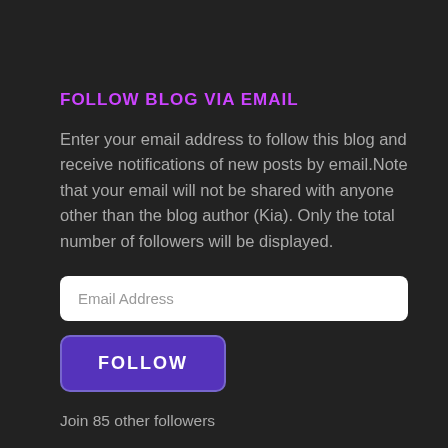FOLLOW BLOG VIA EMAIL
Enter your email address to follow this blog and receive notifications of new posts by email.Note that your email will not be shared with anyone other than the blog author (Kia). Only the total number of followers will be displayed.
[Figure (screenshot): Email address input field with placeholder text 'Email Address']
[Figure (screenshot): Purple FOLLOW button with rounded corners]
Join 85 other followers